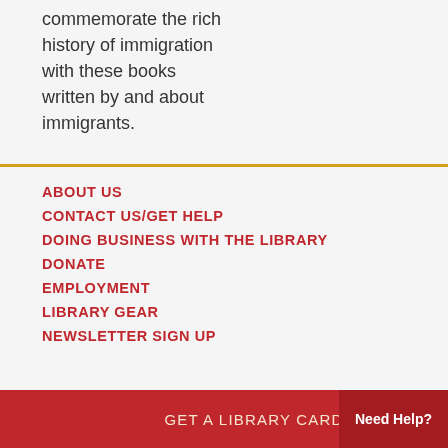commemorate the rich history of immigration with these books written by and about immigrants.
ABOUT US
CONTACT US/GET HELP
DOING BUSINESS WITH THE LIBRARY
DONATE
EMPLOYMENT
LIBRARY GEAR
NEWSLETTER SIGN UP
GET A LIBRARY CARD
Need Help?